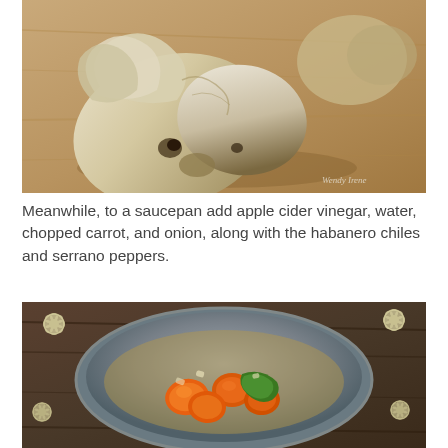[Figure (photo): Close-up photograph of roasted/charred garlic bulbs and cloves on a wooden cutting board, with a watermark 'Wendy Irene' in the bottom right corner.]
Meanwhile, to a saucepan add apple cider vinegar, water, chopped carrot, and onion, along with the habanero chiles and serrano peppers.
[Figure (photo): Overhead photograph of a stainless steel saucepan on a dark wooden surface containing orange habanero chiles, green serrano peppers, and chopped onion pieces, with decorative flower-shaped vegetable cuts scattered around the pan.]